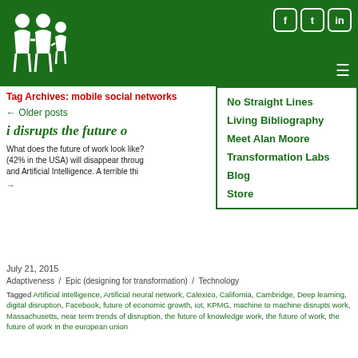Site header with logo, social icons (f, t, in), and hamburger menu
Tag Archives: mobile social networks
← Older posts
i disrupts the future o
What does the future of work look like? (42% in the USA) will disappear through and Artificial Intelligence. A terrible thi
→
July 21, 2015
Adaptiveness  /  Epic (designing for transformation)  /  Technology
Tagged Artificial intelligence, Artificial neural network, Calexico, California, Cambridge, Deep learning, digital disruption, Facebook, future of economic growth, iot, KPMG, machine to machine disrupts work, Massachusetts, near term trends of disruption, the future of knowledge work, the future of work, the future of work in the european union